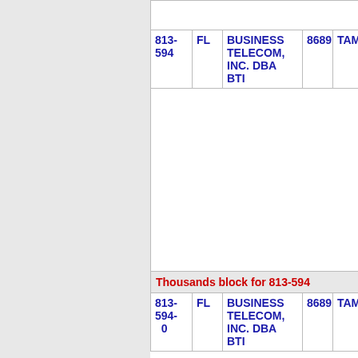| Number | ST | Name | ZIP | City |
| --- | --- | --- | --- | --- |
| 813-594 | FL | BUSINESS TELECOM, INC. DBA BTI | 8689 | TAMPA |
| Thousands block for 813-594 |  |  |  |  |
| 813-594-0 | FL | BUSINESS TELECOM, INC. DBA BTI | 8689 | TAMPA |